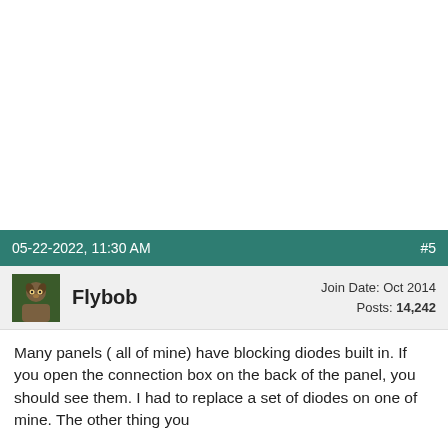05-22-2022, 11:30 AM   #5
Flybob   Join Date: Oct 2014   Posts: 14,242
Many panels ( all of mine) have blocking diodes built in. If you open the connection box on the back of the panel, you should see them. I had to replace a set of diodes on one of mine. The other thing you need to check is the current rating of your controller. It is unusual that OEM systems come with controllers with 100% margin.